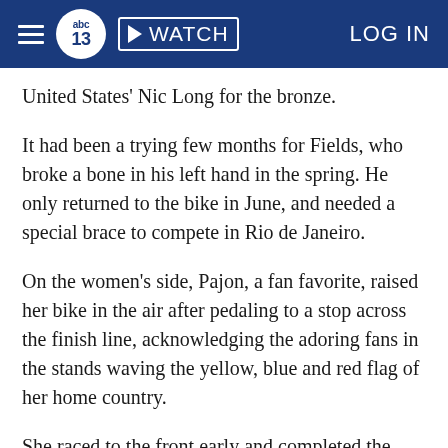abc13 WATCH LOG IN
United States' Nic Long for the bronze.
It had been a trying few months for Fields, who broke a bone in his left hand in the spring. He only returned to the bike in June, and needed a special brace to compete in Rio de Janeiro.
On the women's side, Pajon, a fan favorite, raised her bike in the air after pedaling to a stop across the finish line, acknowledging the adoring fans in the stands waving the yellow, blue and red flag of her home country.
She raced to the front early and completed the nearly quarter mile-long course filled with bumps and twists